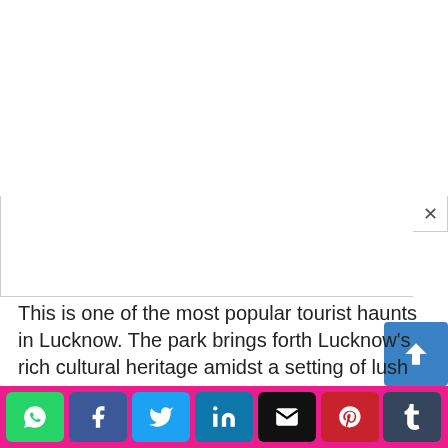[Figure (screenshot): White blank area at top of page, resembling a browser or app modal area with a close X button at top right]
This is one of the most popular tourist haunts in Lucknow. The park brings forth Lucknow's rich cultural heritage amidst a setting of lush green gardens. Besides the natural beauty that the park's flora and fauna lends it, a number of art displays like bronze statues of animals and trees, a
[Figure (infographic): Social sharing bar with icons for WhatsApp, Facebook, Twitter, LinkedIn, Email, Pinterest, and Tumblr on a pink/magenta background]